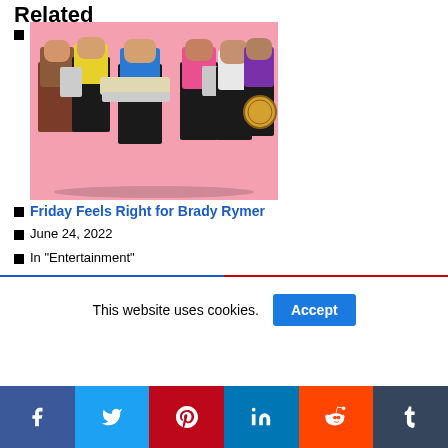Related
[Figure (photo): Band photo of five musicians with colorful outfits on a pink background. One plays guitar, two play accordions, one holds a tambourine.]
Friday Feels Right for Brady Rymer
June 24, 2022
In "Entertainment"
This website uses cookies.
Social share bar: Facebook, Twitter, Pinterest, LinkedIn, Reddit, Tumblr